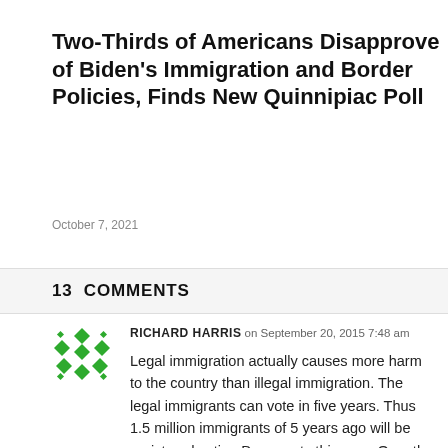Two-Thirds of Americans Disapprove of Biden's Immigration and Border Policies, Finds New Quinnipiac Poll
October 7, 2021
13  COMMENTS
RICHARD HARRIS on September 20, 2015 7:48 am
Legal immigration actually causes more harm to the country than illegal immigration. The legal immigrants can vote in five years. Thus 1.5 million immigrants of 5 years ago will be registered voting Democrats this year. Over the last 25 years the 40 million legal immigrants have swollen the Democrat voting base by 32.5